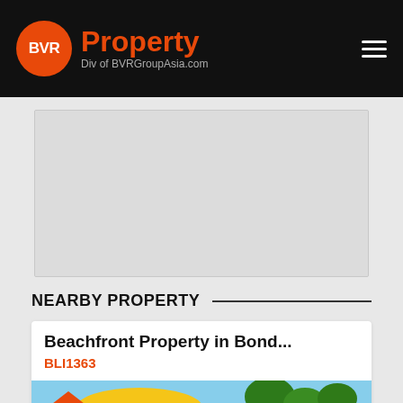BVR Property — Div of BVRGroupAsia.com
[Figure (map): Embedded map showing a location area, light gray background]
NEARBY PROPERTY
Beachfront Property in Bond...
BLI1363
[Figure (photo): Beachfront scene with yellow Balinese umbrella and tropical trees in background]
[Figure (logo): Property Valuations badge icon — orange house logo]
Message